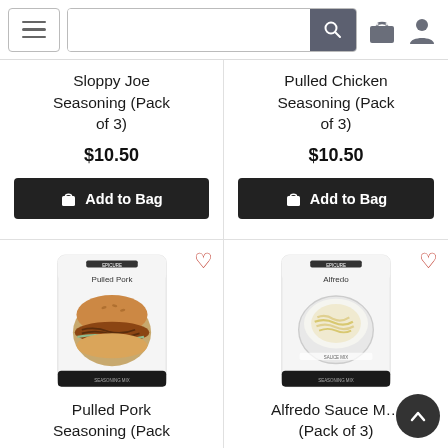[Figure (screenshot): E-commerce website navigation bar with hamburger menu, search box with magnifying glass icon, shopping bag icon, and user profile icon]
Sloppy Joe Seasoning (Pack of 3)
$10.50
Add to Bag
Pulled Chicken Seasoning (Pack of 3)
$10.50
Add to Bag
[Figure (photo): Product packaging for Pulled Pork seasoning showing a pulled pork sandwich on a bun]
[Figure (photo): Product packaging for Alfredo seasoning showing a bowl of alfredo pasta]
Pulled Pork Seasoning (Pack
Alfredo Sauce M... (Pack of 3)